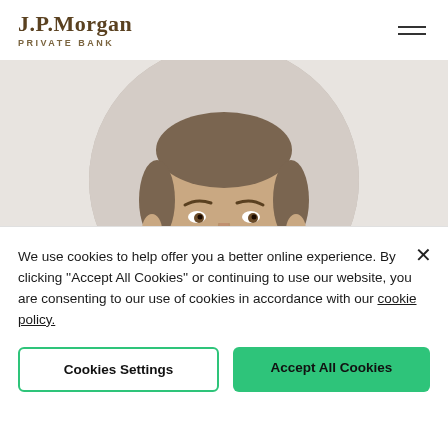[Figure (logo): J.P.Morgan Private Bank logo in serif brown/gold font with 'PRIVATE BANK' subtitle in small caps]
[Figure (photo): Circular cropped headshot portrait of a middle-aged man with short brown hair, against a light beige background]
We use cookies to help offer you a better online experience. By clicking "Accept All Cookies" or continuing to use our website, you are consenting to our use of cookies in accordance with our cookie policy.
Cookies Settings
Accept All Cookies